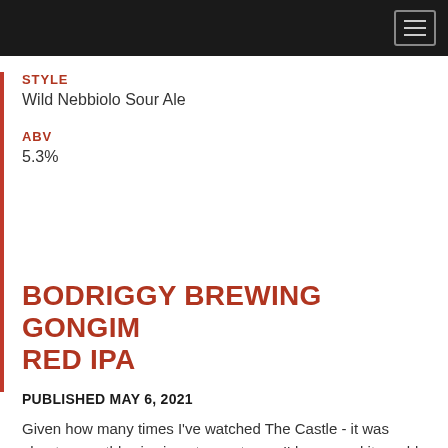STYLE
Wild Nebbiolo Sour Ale
ABV
5.3%
BODRIGGY BREWING GONGIM RED IPA
PUBLISHED MAY 6, 2021
Given how many times I've watched The Castle - it was about a monthly viewing at one stage - I'd assumed it would be pretty hard for a brewery to release a beer